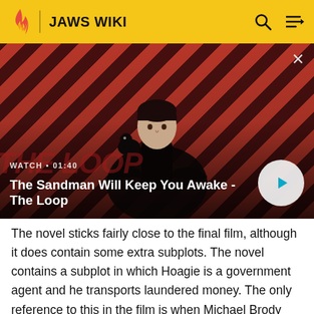JAWS WIKI
[Figure (screenshot): Video thumbnail for 'The Sandman Will Keep You Awake - The Loop'. Shows a dark figure with a bird on shoulder against diagonal red and dark stripe background. Includes WATCH • 01:40 label and a play button.]
WATCH • 01:40
The Sandman Will Keep You Awake - The Loop
The novel sticks fairly close to the final film, although it does contain some extra subplots. The novel contains a subplot in which Hoagie is a government agent and he transports laundered money. The only reference to this in the film is when Michael Brody asks "What do you do when you're not flying people?" to which Hoagie replies, "I...